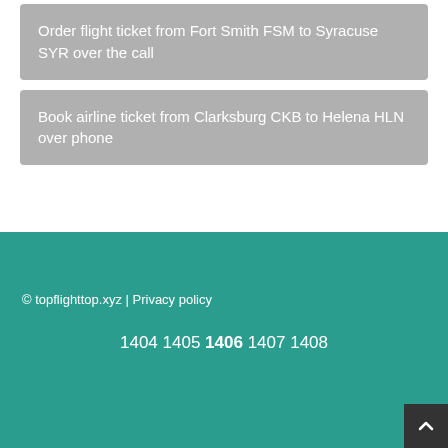Order flight ticket from Fort Smith FSM to Syracuse SYR over the call
Book airline ticket from Clarksburg CKB to Helena HLN over phone
© topflighttop.xyz | Privacy policy
1404 1405 1406 1407 1408